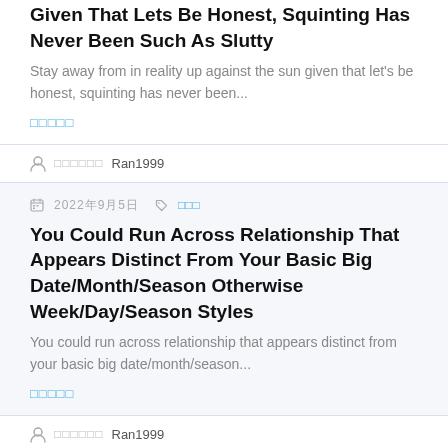Given That Lets Be Honest, Squinting Has Never Been Such As Slutty
Stay away from in reality up against the sun given that let's be honest, squinting has never been...
□□□□□
□□□□□□ Ran1999
2022年9月5日  □□□
You Could Run Across Relationship That Appears Distinct From Your Basic Big Date/Month/Season Otherwise Week/Day/Season Styles
You could run across relationship that appears distinct from your basic big date/month/season...
□□□□□
□□□□□□ Ran1999